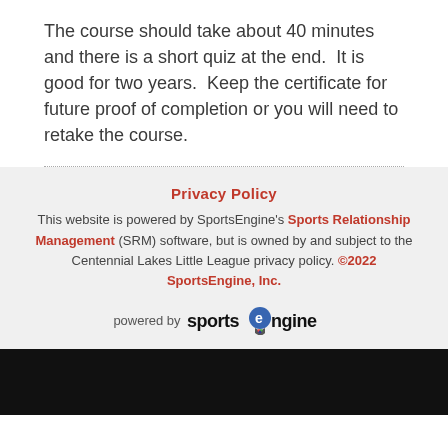The course should take about 40 minutes and there is a short quiz at the end.  It is good for two years.  Keep the certificate for future proof of completion or you will need to retake the course.
Privacy Policy
This website is powered by SportsEngine's Sports Relationship Management (SRM) software, but is owned by and subject to the Centennial Lakes Little League privacy policy. ©2022 SportsEngine, Inc.
powered by sportsengine